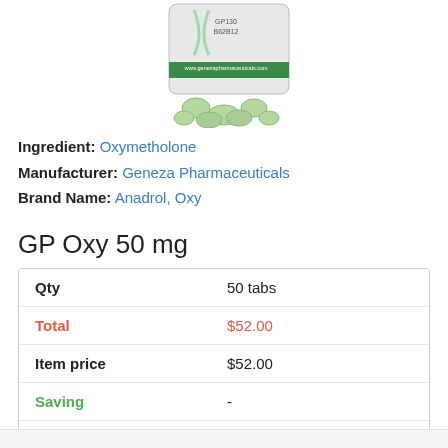[Figure (photo): Product photo of GP Oxy 50mg tablets in green color with Geneza Pharmaceuticals packaging bag]
Ingredient: Oxymetholone
Manufacturer: Geneza Pharmaceuticals
Brand Name: Anadrol, Oxy
GP Oxy 50 mg
|  |  |
| --- | --- |
| Qty | 50 tabs |
| Total | $52.00 |
| Item price | $52.00 |
| Saving | - |